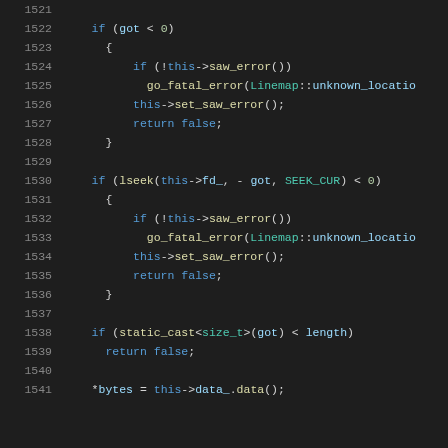Source code listing, lines 1521-1541, C++ code with syntax highlighting showing error handling logic with if statements, lseek calls, and pointer assignment.